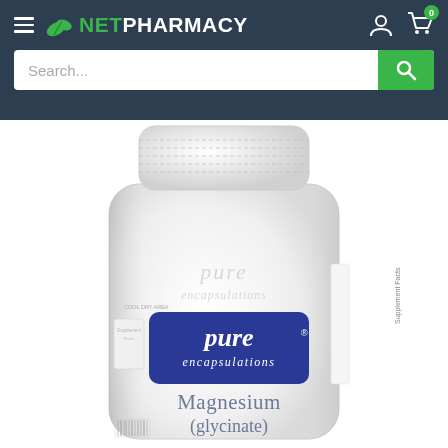NetPharmacy - Header navigation with logo, hamburger menu, account icon, cart icon (0 items), and search bar
[Figure (photo): White supplement bottle from Pure Encapsulations brand, showing the label 'pure encapsulations' in blue rounded rectangle, with product name 'Magnesium (glycinate)' in gray text below the label. A faint watermark of the brand name appears on the bottle body. The bottle has a white cap and partial supplement facts panel visible on the right side.]